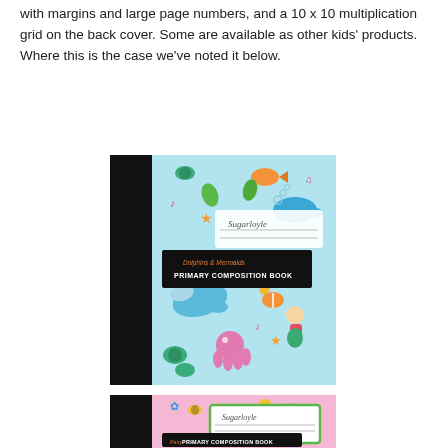with margins and large page numbers, and a 10 x 10 multiplication grid on the back cover. Some are available as other kids' products. Where this is the case we've noted it below.
[Figure (illustration): A composition book with a light blue cover featuring cartoon ocean animals: dolphins, mermaids, fish, turtles, starfish, seahorses, octopus, and musical notes. A black spine on the left. Label reads 'Dolphins & Mermaids PRIMARY COMPOSITION BOOK'.]
[Figure (illustration): A composition book with a pink cover featuring cartoon fairies, bees, butterflies, and flowers. A black spine on the left. Label reads 'Fairy PRIMARY COMPOSITION BOOK'. Partially cropped at bottom.]